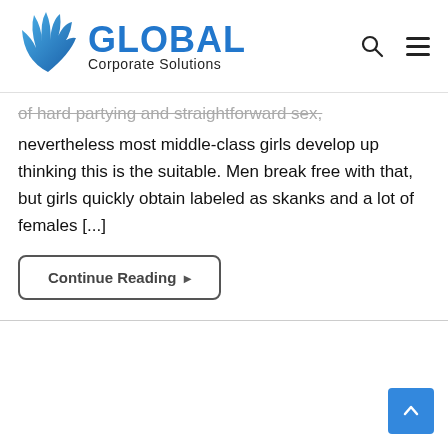[Figure (logo): Global Corporate Solutions logo with blue wing/leaf graphic and blue GLOBAL text with black Corporate Solutions subtitle]
of hard partying and straightforward sex, nevertheless most middle-class girls develop up thinking this is the suitable. Men break free with that, but girls quickly obtain labeled as skanks and a lot of females [...]
Continue Reading ▸